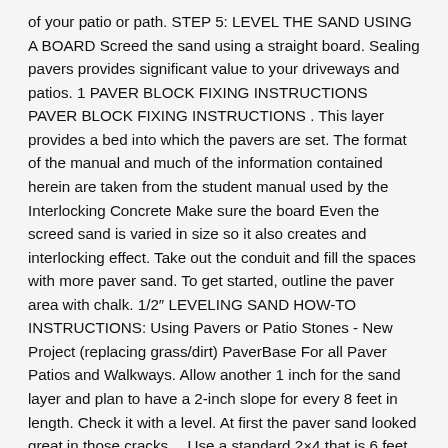of your patio or path. STEP 5: LEVEL THE SAND USING A BOARD Screed the sand using a straight board. Sealing pavers provides significant value to your driveways and patios. 1 PAVER BLOCK FIXING INSTRUCTIONS PAVER BLOCK FIXING INSTRUCTIONS . This layer provides a bed into which the pavers are set. The format of the manual and much of the information contained herein are taken from the student manual used by the Interlocking Concrete Make sure the board Even the screed sand is varied in size so it also creates and interlocking effect. Take out the conduit and fill the spaces with more paver sand. To get started, outline the paver area with chalk. 1/2″ LEVELING SAND HOW-TO INSTRUCTIONS: Using Pavers or Patio Stones - New Project (replacing grass/dirt) PaverBase For all Paver Patios and Walkways. Allow another 1 inch for the sand layer and plan to have a 2-inch slope for every 8 feet in length. Check it with a level. At first the paver sand looked great in those cracks… Use a standard 2×4 that is 6 feet long. Level these areas before moving on. Place pavers flat on the sand bed. This ensures a